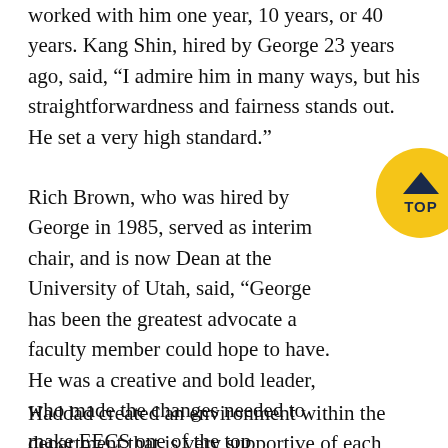worked with him one year, 10 years, or 40 years. Kang Shin, hired by George 23 years ago, said, “I admire him in many ways, but his straightforwardness and fairness stands out. He set a very high standard.”
Rich Brown, who was hired by George in 1985, served as interim chair, and is now Dean at the University of Utah, said, “George has been the greatest advocate a faculty member could hope to have. He was a creative and bold leader, who made the changes needed to make EECS one of the top departments in the world. He was always willing to use his own resources and connections to build infrastructure that enabled the work of others.”
Haddad created an environment within the department that is very supportive of each